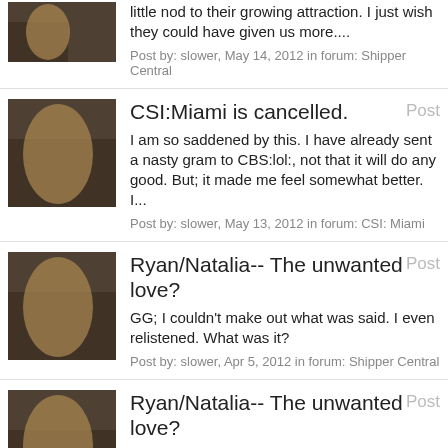little nod to their growing attraction. I just wish they could have given us more....
Post by: slower, May 14, 2012 in forum: Shipper Central
CSI:Miami is cancelled.
Post
I am so saddened by this. I have already sent a nasty gram to CBS:lol:, not that it will do any good. But; it made me feel somewhat better. I...
Post by: slower, May 13, 2012 in forum: CSI: Miami
Ryan/Natalia-- The unwanted love?
Post
GG; I couldn't make out what was said. I even relistened. What was it?
Post by: slower, Apr 5, 2012 in forum: Shipper Central
Ryan/Natalia-- The unwanted love?
Post
Welcome Alessia! Thanks for joining us MJ! We all have to agree that R/N are fun to watch, have great chemistry, and both actors are amazing. I...
Post by: slower, Mar 3, 2012 in forum: Shipper Central
Ryan/Natalia-- The unwanted love?
Post
Post by: slower, Mar 1, 2012 in forum: Shipper Central